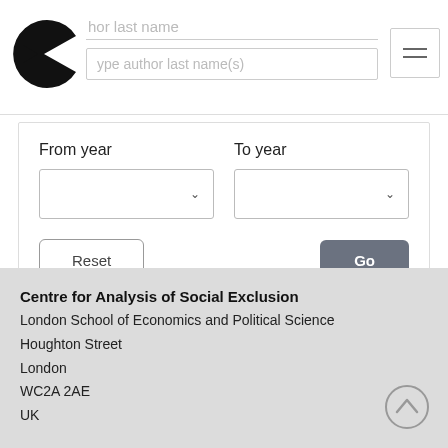[Figure (logo): Pac-Man style logo in black]
hor last name
ype author last name(s)
From year
To year
Reset
Go
Centre for Analysis of Social Exclusion
London School of Economics and Political Science
Houghton Street
London
WC2A 2AE
UK